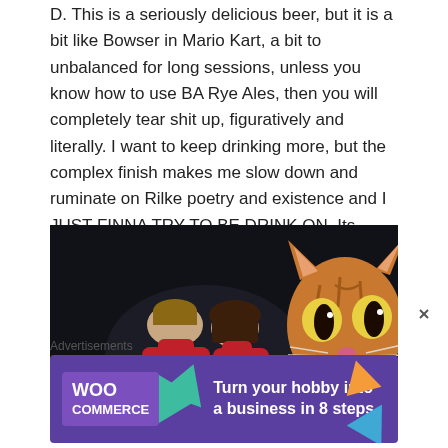D. This is a seriously delicious beer, but it is a bit like Bowser in Mario Kart, a bit to unbalanced for long sessions, unless you know how to use BA Rye Ales, then you will completely tear shit up, figuratively and literally. I want to keep drinking more, but the complex finish makes me slow down and ruminate on Rilke poetry and existence and I JUST FINNA TRY TO BE DRINK ON. Its faults redouble like the walls of a mitochondria and impair the drinkability. FUCKING RIBOSOMES.
[Figure (photo): A couple wearing matching red turtlenecks posing for a formal portrait photo against a dark background. They are holding a small orange cat, and a large close-up of an orange tabby cat's face appears on the right side of the image.]
Advertisements
[Figure (infographic): WooCommerce advertisement banner with purple background. Shows WooCommerce logo on the left and text 'Turn your hobby into a business in 8 steps' on the right, with decorative colored triangles.]